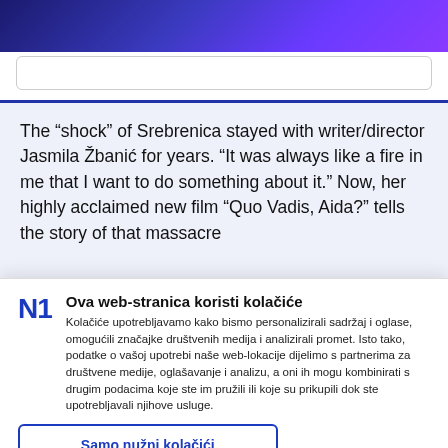[Figure (screenshot): Top gradient banner in dark blue to purple]
The “shock” of Srebrenica stayed with writer/director Jasmila Žbanić for years. “It was always like a fire in me that I want to do something about it.” Now, her highly acclaimed new film “Quo Vadis, Aida?” tells the story of that massacre
Ova web-stranica koristi kolačiće
Kolačiće upotrebljavamo kako bismo personalizirali sadržaj i oglase, omogućili značajke društvenih medija i analizirali promet. Isto tako, podatke o vašoj upotrebi naše web-lokacije dijelimo s partnerima za društvene medije, oglašavanje i analizu, a oni ih mogu kombinirati s drugim podacima koje ste im pružili ili koje su prikupili dok ste upotrebljavali njihove usluge.
Samo nužni kolačići
Omogući sve kolačiće
Prikaži detalje